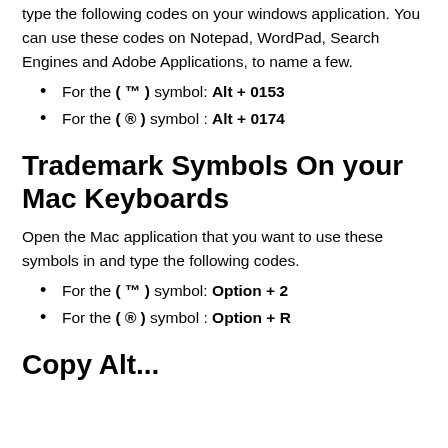type the following codes on your windows application. You can use these codes on Notepad, WordPad, Search Engines and Adobe Applications, to name a few.
For the ( ™ ) symbol: Alt + 0153
For the ( ® ) symbol : Alt + 0174
Trademark Symbols On your Mac Keyboards
Open the Mac application that you want to use these symbols in and type the following codes.
For the ( ™ ) symbol: Option + 2
For the ( ® ) symbol : Option + R
Copy Alt...